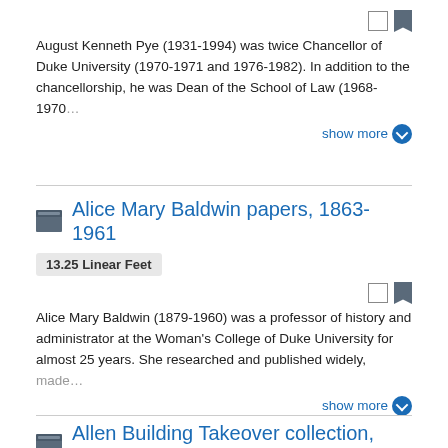August Kenneth Pye (1931-1994) was twice Chancellor of Duke University (1970-1971 and 1976-1982). In addition to the chancellorship, he was Dean of the School of Law (1968-1970…
show more
Alice Mary Baldwin papers, 1863-1961
13.25 Linear Feet
Alice Mary Baldwin (1879-1960) was a professor of history and administrator at the Woman's College of Duke University for almost 25 years. She researched and published widely, made…
show more
Allen Building Takeover collection, 1969-